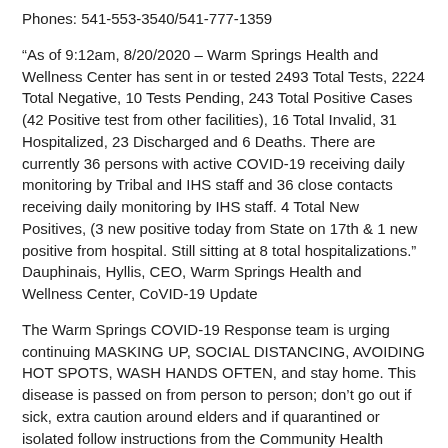Phones: 541-553-3540/541-777-1359
“As of 9:12am, 8/20/2020 – Warm Springs Health and Wellness Center has sent in or tested 2493 Total Tests, 2224 Total Negative, 10 Tests Pending, 243 Total Positive Cases (42 Positive test from other facilities), 16 Total Invalid, 31 Hospitalized, 23 Discharged and 6 Deaths. There are currently 36 persons with active COVID-19 receiving daily monitoring by Tribal and IHS staff and 36 close contacts receiving daily monitoring by IHS staff. 4 Total New Positives, (3 new positive today from State on 17th & 1 new positive from hospital. Still sitting at 8 total hospitalizations.” Dauphinais, Hyllis, CEO, Warm Springs Health and Wellness Center, CoVID-19 Update
The Warm Springs COVID-19 Response team is urging continuing MASKING UP, SOCIAL DISTANCING, AVOIDING HOT SPOTS, WASH HANDS OFTEN, and stay home. This disease is passed on from person to person; don’t go out if sick, extra caution around elders and if quarantined or isolated follow instructions from the Community Health professionals. Young people are now getting COVID-19 more than other groups, they are very mobile and so parents remind them of being respectful